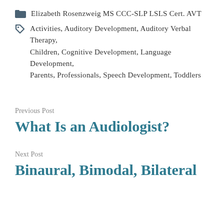Elizabeth Rosenzweig MS CCC-SLP LSLS Cert. AVT
Activities, Auditory Development, Auditory Verbal Therapy, Children, Cognitive Development, Language Development, Parents, Professionals, Speech Development, Toddlers
Previous Post
What Is an Audiologist?
Next Post
Binaural, Bimodal, Bilateral